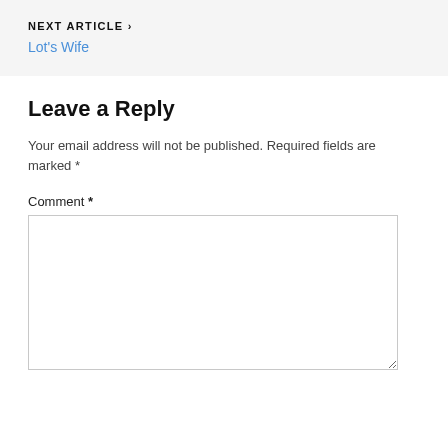NEXT ARTICLE > Lot's Wife
Leave a Reply
Your email address will not be published. Required fields are marked *
Comment *